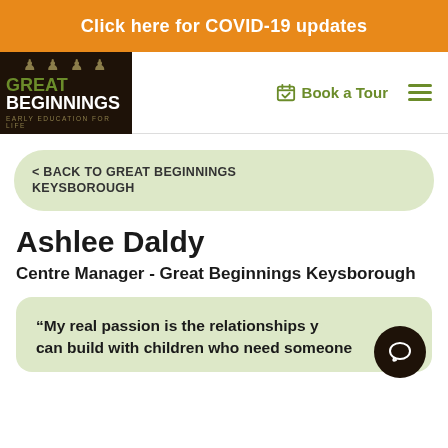Click here for COVID-19 updates
[Figure (logo): Great Beginnings Early Education For Life logo on dark background]
Book a Tour
< BACK TO GREAT BEGINNINGS KEYSBOROUGH
Ashlee Daldy
Centre Manager - Great Beginnings Keysborough
“My real passion is the relationships you can build with children who need someone